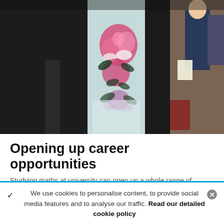[Figure (photo): A person in a black graduation gown over a floral-patterned dress, standing in what appears to be a graduation ceremony venue. Other people are visible in the background.]
Opening up career opportunities
Studying maths at university can open up a whole range of
We use cookies to personalise content, to provide social media features and to analyse our traffic. Read our detailed cookie policy